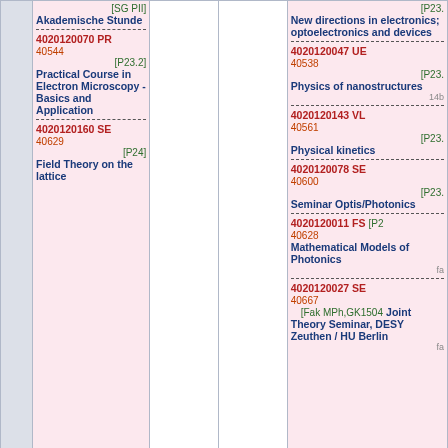|  | Column1 | Column2 | Column3 |
| --- | --- | --- | --- |
|  | [SG PII]
Akademische Stunde
---
4020120070 PR
40544
[P23.2]
Practical Course in Electron Microscopy - Basics and Application
---
4020120160 SE
40629
[P24]
Field Theory on the lattice |  |  | [P23.]
New directions in electronics; optoelectronics and devices
---
4020120047 UE
40538
[P23.]
Physics of nanostructures
14b
---
4020120143 VL
40561
[P23.]
Physical kinetics
---
4020120078 SE
40600
[P23.]
Seminar Optis/Photonics
---
4020120011 FS [P2
40628
Mathematical Models of Photonics
fa
---
4020120027 SE
40667
[Fak MPh,GK1504
Joint Theory Seminar, DESY Zeuthen / HU Berlin
fa |
| 17 | 4020120147 UE
40533
[P23.2]
Introduction to Surface Physics
---
4020120160 SE
40629
[P24] |  |  | 4020120011 FS [P2
40628
Mathematical Models of Photonics
fa |